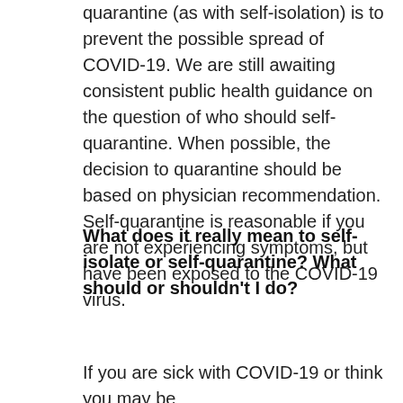quarantine (as with self-isolation) is to prevent the possible spread of COVID-19. We are still awaiting consistent public health guidance on the question of who should self-quarantine. When possible, the decision to quarantine should be based on physician recommendation. Self-quarantine is reasonable if you are not experiencing symptoms, but have been exposed to the COVID-19 virus.
What does it really mean to self-isolate or self-quarantine? What should or shouldn't I do?
If you are sick with COVID-19 or think you may be infected, the...